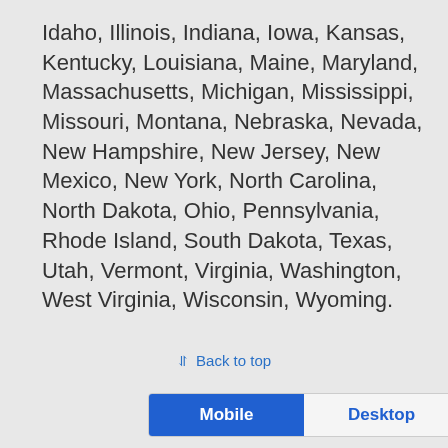Idaho, Illinois, Indiana, Iowa, Kansas, Kentucky, Louisiana, Maine, Maryland, Massachusetts, Michigan, Mississippi, Missouri, Montana, Nebraska, Nevada, New Hampshire, New Jersey, New Mexico, New York, North Carolina, North Dakota, Ohio, Pennsylvania, Rhode Island, South Dakota, Texas, Utah, Vermont, Virginia, Washington, West Virginia, Wisconsin, Wyoming.
Back to top
Mobile  Desktop